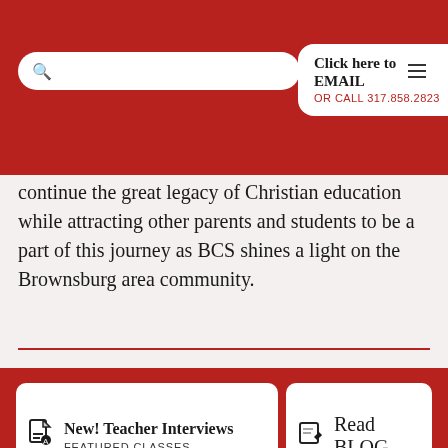Click here to EMAIL OR CALL 317.858.2823
continue the great legacy of Christian education while attracting other parents and students to be a part of this journey as BCS shines a light on the Brownsburg area community.
[Figure (other): New! Teacher Interviews — FEATURED CLASSES button card]
[Figure (other): Read BLOG button card]
HOME  EMPLOYMENT  SUPPORT BCS